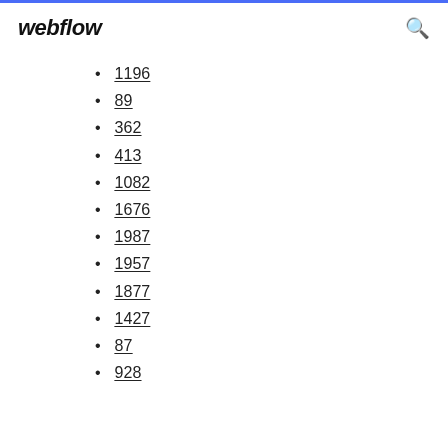webflow
1196
89
362
413
1082
1676
1987
1957
1877
1427
87
928